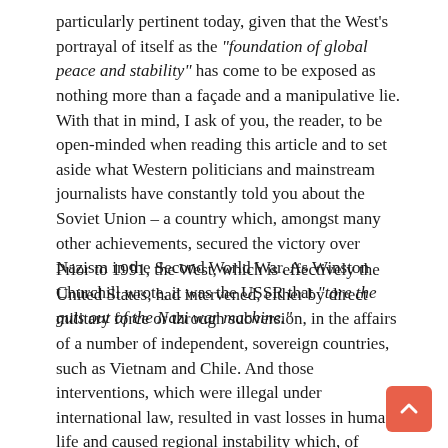particularly pertinent today, given that the West's portrayal of itself as the "foundation of global peace and stability" has come to be exposed as nothing more than a façade and a manipulative lie. With that in mind, I ask of you, the reader, to be open-minded when reading this article and to set aside what Western politicians and mainstream journalists have constantly told you about the Soviet Union – a country which, amongst many other achievements, secured the victory over Nazism in the Second World War. As Winston Churchill wrote, it was the USSR that "tore the guts out of the Nazi war machine."
Prior to 1991, the West, which is effectively the United States, had intervened, either by direct military force or through subversion, in the affairs of a number of independent, sovereign countries, such as Vietnam and Chile. And those interventions, which were illegal under international law, resulted in vast losses in human life and caused regional instability which, of course, had knock-on effects on global stability. However, from 1991 onwards, the rate at which the US has intervened in the domestic affairs of countries has increased exponentially, breaking international law like never